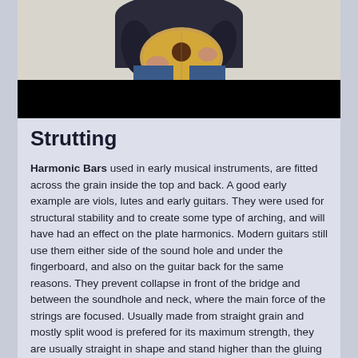[Figure (photo): A person playing a classical guitar, shown from chest down. Below the guitar player image is a black bar (likely a video player control bar).]
Strutting
Harmonic Bars used in early musical instruments, are fitted across the grain inside the top and back. A good early example are viols, lutes and early guitars. They were used for structural stability and to create some type of arching, and will have had an effect on the plate harmonics. Modern guitars still use them either side of the sound hole and under the fingerboard, and also on the guitar back for the same reasons. They prevent collapse in front of the bridge and between the soundhole and neck, where the main force of the strings are focused. Usually made from straight grain and mostly split wood is prefered for its maximum strength, they are usually straight in shape and stand higher than the gluing edge; however I have seen curved bars under the sound hole that have pivoted and led to a very distorted front plate. Mostly the edge is scalloped to the sides, though an interesting variation from Jose Romanillos had bars with full height at the sides scalloped toward the centre line, acting like an arch transfering